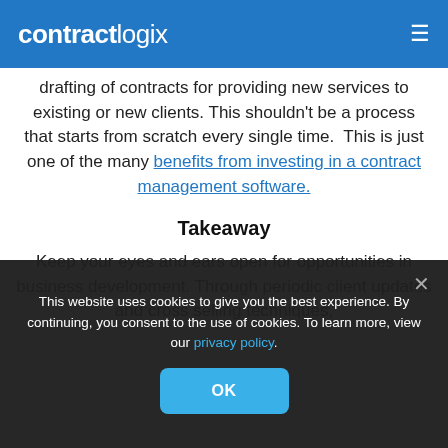contractlogix
drafting of contracts for providing new services to existing or new clients. This shouldn't be a process that starts from scratch every single time.  This is just one of the many benefits from investing in a contract management software.
Takeaway
Keep your eyes and ears open for opportunities in business development. Through periodic client updates and cross selling techniques,
This website uses cookies to give you the best experience. By continuing, you consent to the use of cookies. To learn more, view our privacy policy.
OK